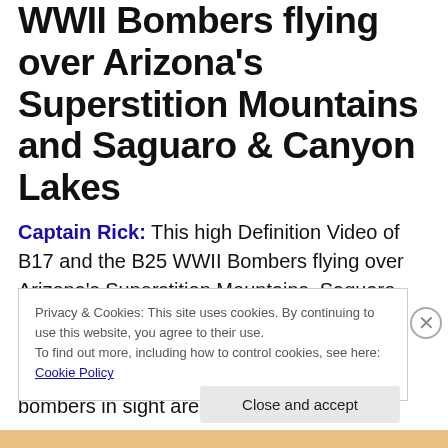WWII Bombers flying over Arizona's Superstition Mountains and Saguaro & Canyon Lakes
Captain Rick: This high Definition Video of B17 and the B25 WWII Bombers flying over Arizona's Superstition Mountains, Saguaro Lake and Canyon Lake, presents some of Arizona's most beautiful landscape. The majestic views from the air with the WWII bombers in sight are magnificent.
Privacy & Cookies: This site uses cookies. By continuing to use this website, you agree to their use.
To find out more, including how to control cookies, see here: Cookie Policy
Close and accept